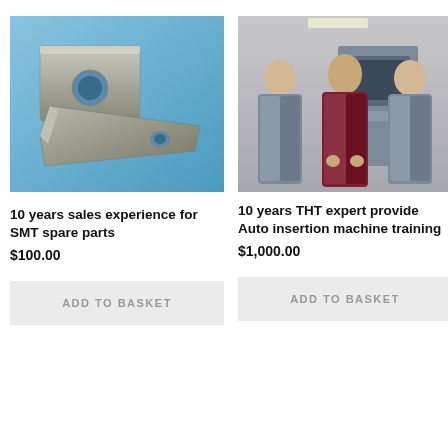[Figure (photo): Two metallic SMT spare parts on a blue background — a rectangular bracket with a hole and an angled tool with a hole.]
10 years sales experience for SMT spare parts
$100.00
ADD TO BASKET
[Figure (photo): Three men in lab coats (blue and maroon) standing in front of industrial equipment in a manufacturing facility.]
10 years THT expert provide Auto insertion machine training
$1,000.00
ADD TO BASKET